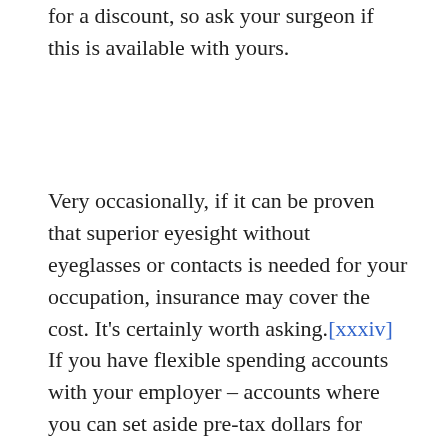for a discount, so ask your surgeon if this is available with yours.
Very occasionally, if it can be proven that superior eyesight without eyeglasses or contacts is needed for your occupation, insurance may cover the cost. It's certainly worth asking.[xxxiv]  If you have flexible spending accounts with your employer – accounts where you can set aside pre-tax dollars for medical costs – it's worth using that advantage to